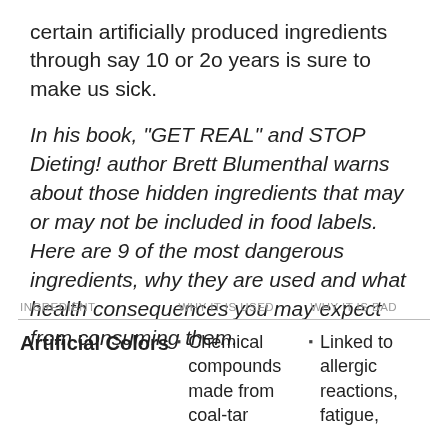certain artificially produced ingredients through say 10 or 2o years is sure to make us sick.
In his book, “GET REAL” and STOP Dieting! author Brett Blumenthal warns about those hidden ingredients that may or may not be included in food labels.  Here are 9 of the most dangerous ingredients, why they are used and what health consequences you may expect from consuming them.
| INGREDIENT | WHY IT IS USED | WHY IT IS BAD |
| --- | --- | --- |
| Artificial Colors | Chemical compounds made from coal-tar | Linked to allergic reactions, fatigue, |